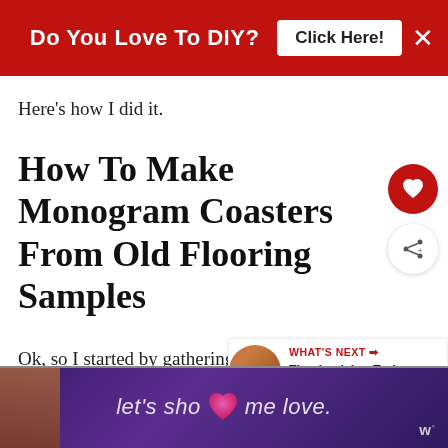Do You Love To DIY? Click Here!
Here's how I did it.
How To Make Monogram Coasters From Old Flooring Samples
Ok, so I started by gathering my
[Figure (screenshot): WHAT'S NEXT arrow with Thanksgiving Turkey Fan... thumbnail]
[Figure (screenshot): Ad strip: let's show some love with heart logo, purple background, Walmart logo]